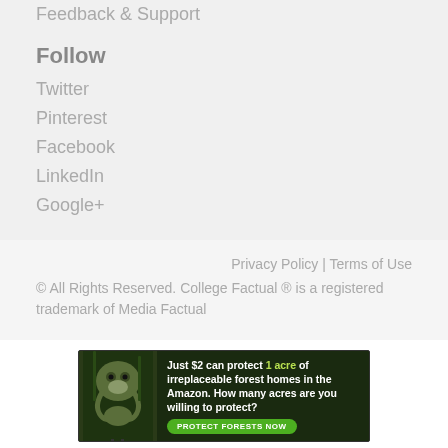Feedback & Support
Follow
Twitter
Pinterest
Facebook
LinkedIn
Google+
Privacy Policy | Terms of Use
© All Rights Reserved. College Factual ® is a registered trademark of Media Factual
[Figure (photo): Amazon forest conservation advertisement banner: 'Just $2 can protect 1 acre of irreplaceable forest homes in the Amazon. How many acres are you willing to protect?' with a 'PROTECT FORESTS NOW' button and a sloth image.]